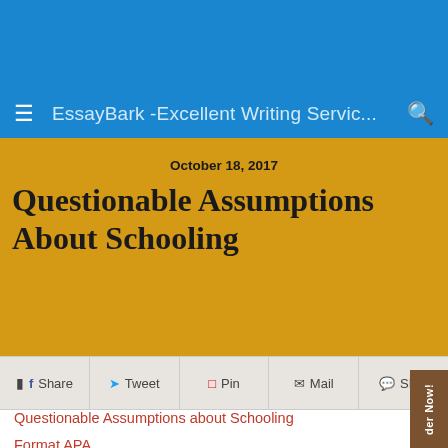EssayBark -Excellent Writing Servic...
October 18, 2017
Questionable Assumptions About Schooling
Share  Tweet  Pin  Mail  SMS
Questionable Assumptions about Schooling
Format APA